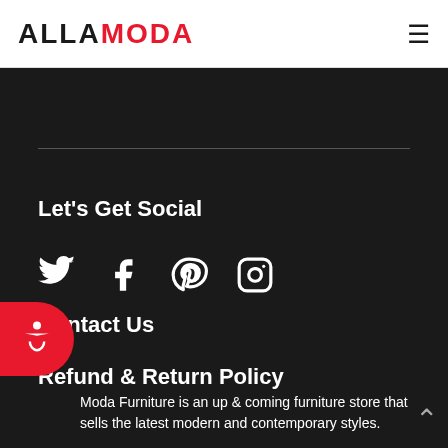ALLA MODA
Let's Get Social
[Figure (other): Social media icons: Twitter, Facebook, Pinterest, Instagram]
Contact Us
Refund & Return Policy
Moda Furniture is an up & coming furniture store that sells the latest modern and contemporary styles.